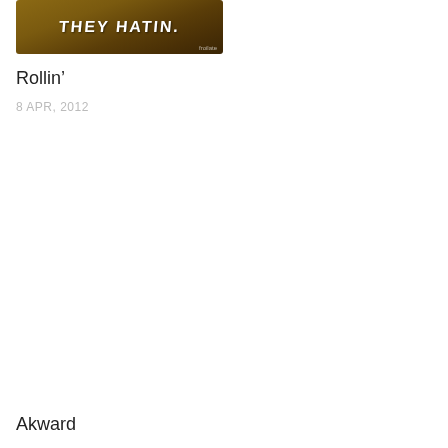[Figure (photo): Partial image showing text 'THEY HATIN.' in white bold letters on a dark brown/wooden background, with a small watermark reading 'froilate' in the bottom right corner.]
Rollin’
8 APR, 2012
Akward